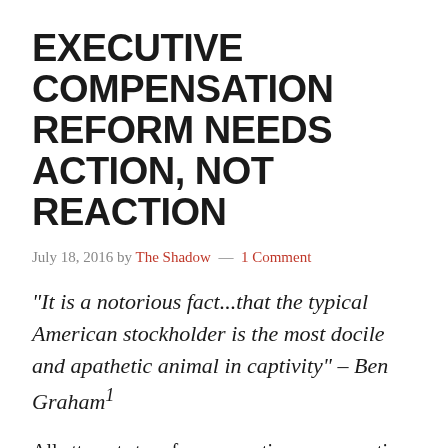EXECUTIVE COMPENSATION REFORM NEEDS ACTION, NOT REACTION
July 18, 2016 by The Shadow — 1 Comment
“It is a notorious fact…that the typical American stockholder is the most docile and apathetic animal in captivity” – Ben Graham1
All attempts to reform executive compensation have been completely useless in the 21st century. The march higher continues unabated at a compounding rate that would make Bernie Madoff proud.